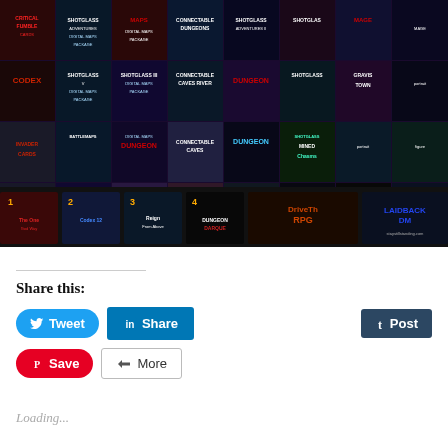[Figure (photo): A collage grid of fantasy/RPG tabletop game product covers including Shotglass Adventures, Connectable Dungeons, Critical Fumbles, DM's Mini-Screen, Gravis Town, Mined Chasms, DriveThruRPG, DungeonDarque, and other titles. Bottom row shows numbered book covers. Overlaid logos include DriveThruRPG and laidbackdm.com / staystillstanding.com]
Share this:
Tweet
Share
Post
Save
More
Loading...